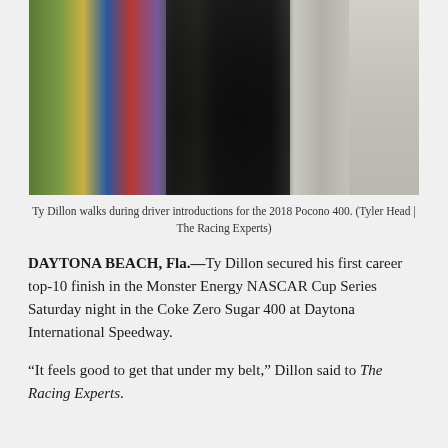[Figure (photo): Ty Dillon walks during driver introductions for the 2018 Pocono 400, surrounded by flag bearers in colorful uniforms, wearing a black jacket.]
Ty Dillon walks during driver introductions for the 2018 Pocono 400. (Tyler Head | The Racing Experts)
DAYTONA BEACH, Fla.—Ty Dillon secured his first career top-10 finish in the Monster Energy NASCAR Cup Series Saturday night in the Coke Zero Sugar 400 at Daytona International Speedway.
“It feels good to get that under my belt,” Dillon said to The Racing Experts.